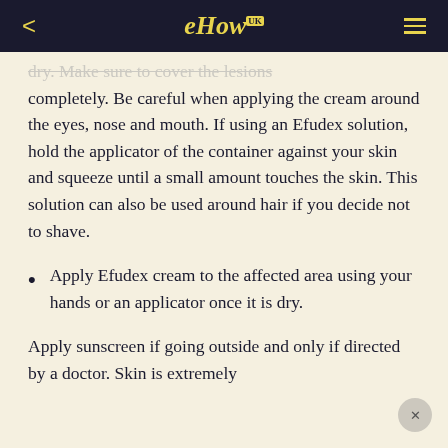eHow UK
dry. Make sure to cover the lesions completely. Be careful when applying the cream around the eyes, nose and mouth. If using an Efudex solution, hold the applicator of the container against your skin and squeeze until a small amount touches the skin. This solution can also be used around hair if you decide not to shave.
Apply Efudex cream to the affected area using your hands or an applicator once it is dry.
Apply sunscreen if going outside and only if directed by a doctor. Skin is extremely